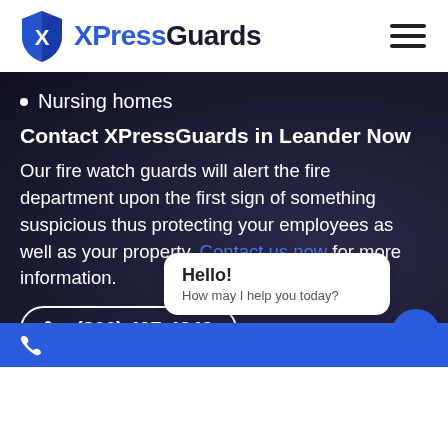[Figure (logo): XPressGuards logo with blue shield icon and text 'XPressGuards']
Nursing homes
Contact XPressGuards in Leander Now
Our fire watch guards will alert the fire department upon the first sign of something suspicious thus protecting your employees as well as your property. Contact us now for more information.
(866) 407-4342
Hello! How may I help you today?